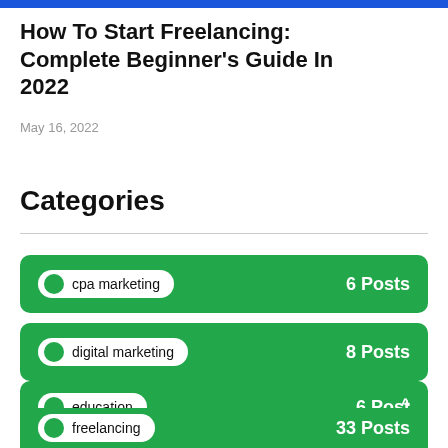How To Start Freelancing: Complete Beginner's Guide In 2022
May 16, 2022
Categories
cpa marketing — 6 Posts
digital marketing — 8 Posts
education — 6 Post
freelancing — 33 Posts